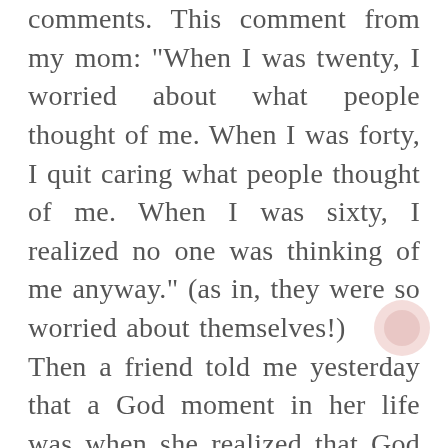comments. This comment from my mom: "When I was twenty, I worried about what people thought of me. When I was forty, I quit caring what people thought of me. When I was sixty, I realized no one was thinking of me anyway." (as in, they were so worried about themselves!)
Then a friend told me yesterday that a God moment in her life was when she realized that God just wants her to be His daughter and that's enough!
I am on a road trip right now and